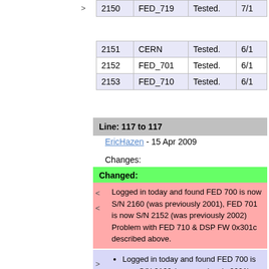| 2150 | FED_719 | Tested. | 7/1 |
| 2151 | CERN | Tested. | 6/1 |
| 2152 | FED_701 | Tested. | 6/1 |
| 2153 | FED_710 | Tested. | 6/1 |
Line: 117 to 117
EricHazen - 15 Apr 2009
Changes:
Changed:
< Logged in today and found FED 700 is now S/N 2160 (was previously 2001), FED 701 is now S/N 2152 (was previously 2002) Problem with FED 710 & DSP FW 0x301c described above.
Logged in today and found FED 700 is now S/N 2160 (was previously 2001), FED 701 is now S/N 2152 (was previously 2002)
Problem with FED 710 & DSP FW 0x301c described above.